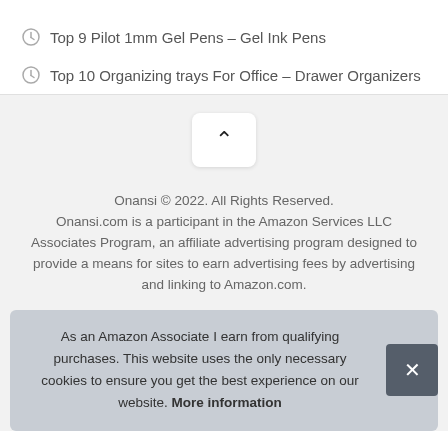Top 9 Pilot 1mm Gel Pens – Gel Ink Pens
Top 10 Organizing trays For Office – Drawer Organizers
[Figure (other): Back to top button with chevron/caret up arrow icon]
Onansi © 2022. All Rights Reserved.
Onansi.com is a participant in the Amazon Services LLC Associates Program, an affiliate advertising program designed to provide a means for sites to earn advertising fees by advertising and linking to Amazon.com.
As an Amazon Associate I earn from qualifying purchases. This website uses the only necessary cookies to ensure you get the best experience on our website. More information